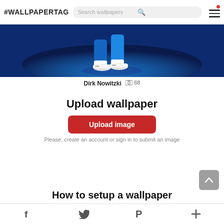#WALLPAPERTAG | Search wallpapers [search icon] [menu icon]
[Figure (photo): Cropped photo of Dirk Nowitzki from the legs down, wearing white basketball shoes and blue shorts, crouching on a blue basketball court with a glowing blue bokeh background]
Dirk Nowitzki [image icon] 68
Upload wallpaper
Upload image
Please, create an account or sign in to submit an image
How to setup a wallpaper
f [Twitter bird] [Pinterest P] +